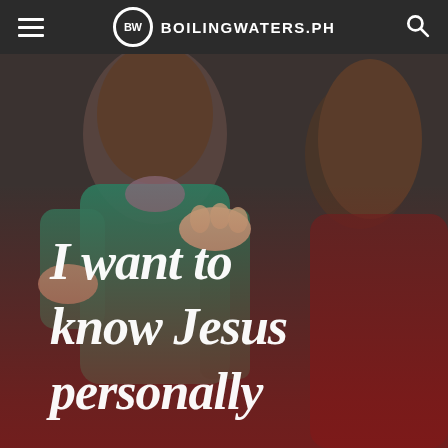BW BOILINGWATERS.PH
[Figure (photo): Two women from behind, one wearing a green shirt with another's hand on her shoulder, with a red gradient overlay at the bottom. Text overlay reads: I want to know Jesus personally]
I want to know Jesus personally